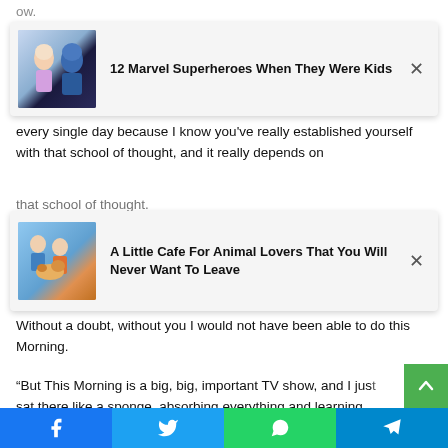[Figure (infographic): Ad card for '12 Marvel Superheroes When They Were Kids' with thumbnail image of young actress and blue superhero character]
every single day because I know you've really established yourself with that school of thought, and it really depends on
[Figure (infographic): Ad card for 'A Little Cafe For Animal Lovers That You Will Never Want To Leave' with thumbnail of people with animals in a cafe]
Without a doubt, without you I would not have been able to do this Morning.
“And I came into that program and I was very new. I know how to do a little telephony because I did Saturday mornings, so I know the basics.
“But This Morning is a big, big, important TV show, and I just sat there like a sponge, absorbing everything and learning
[Figure (infographic): Social share bar with Facebook (blue), Twitter (cyan), WhatsApp (green), Telegram (blue) buttons, and green scroll-to-top button]